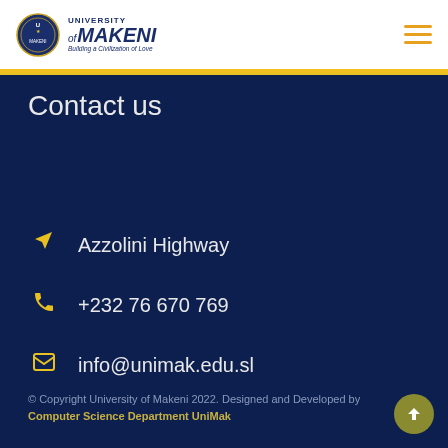University of Makeni – Building a Civilization of Love
Contact us
Azzolini Highway
+232 76 670 769
info@unimak.edu.sl
© Copyright University of Makeni 2022. Designed and Developed by Computer Science Department UniMak